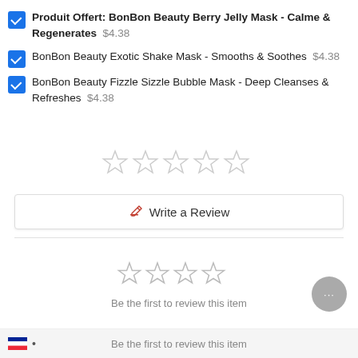Produit Offert: BonBon Beauty Berry Jelly Mask - Calme & Regenerates $4.38
BonBon Beauty Exotic Shake Mask - Smooths & Soothes $4.38
BonBon Beauty Fizzle Sizzle Bubble Mask - Deep Cleanses & Refreshes $4.38
[Figure (other): 5 empty star rating icons]
Write a Review
[Figure (other): 4 empty star rating icons (smaller)]
Be the first to review this item